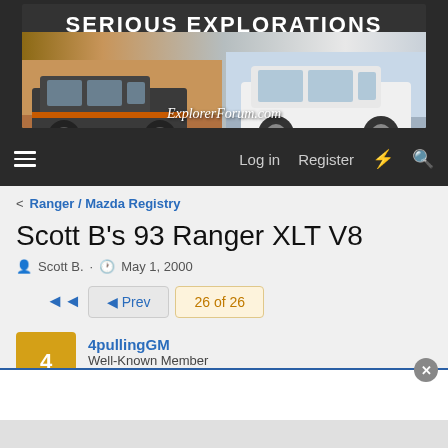[Figure (screenshot): ExplorerForum.com website banner with two Ford Explorer SUVs and the text SERIOUS EXPLORATIONS]
Log in  Register
< Ranger / Mazda Registry
Scott B's 93 Ranger XLT V8
Scott B. · May 1, 2000
◄◄  ◄ Prev  26 of 26
4pullingGM
Well-Known Member